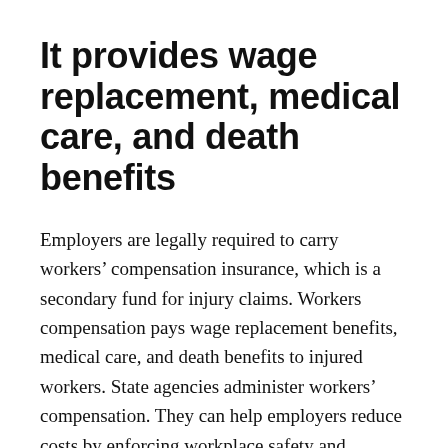It provides wage replacement, medical care, and death benefits
Employers are legally required to carry workers' compensation insurance, which is a secondary fund for injury claims. Workers compensation pays wage replacement benefits, medical care, and death benefits to injured workers. State agencies administer workers' compensation. They can help employers reduce costs by enforcing workplace safety and improving productivity. Modified duty programs can also reduce experience mod. Insurers can help